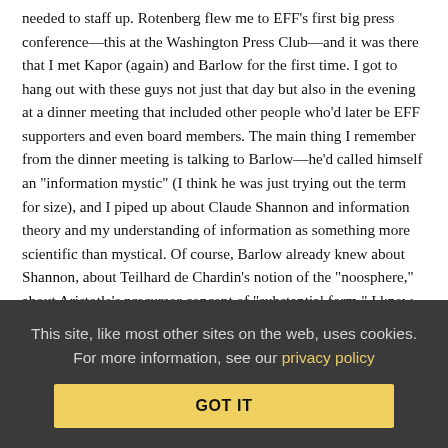needed to staff up. Rotenberg flew me to EFF's first big press conference—this at the Washington Press Club—and it was there that I met Kapor (again) and Barlow for the first time. I got to hang out with these guys not just that day but also in the evening at a dinner meeting that included other people who'd later be EFF supporters and even board members. The main thing I remember from the dinner meeting is talking to Barlow—he'd called himself an "information mystic" (I think he was just trying out the term for size), and I piped up about Claude Shannon and information theory and my understanding of information as something more scientific than mystical. Of course, Barlow already knew about Shannon, about Teilhard de Chardin's notion of the "noosphere," about Aristotle's precursor concept of "substantial form." I knew instantly that I would get along with this guy.
I got recruited, not just by CPSR, but by EFF, and I became EFF's first staff counsel (and, in fact, EFF's first full-time employee). The
This site, like most other sites on the web, uses cookies. For more information, see our privacy policy
GOT IT